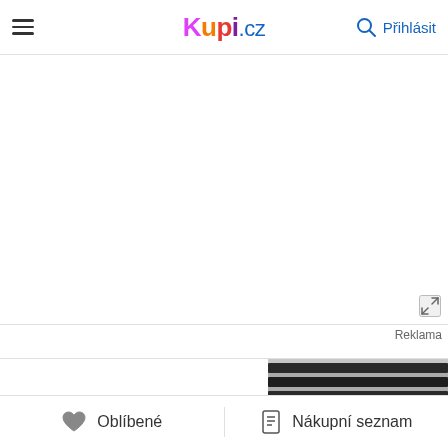Kupi.cz — Přihlásit
[Figure (screenshot): White advertisement placeholder area with a small fullscreen/expand icon in the bottom-right corner]
Reklama
[Figure (photo): Partial photo of shelves stocked with products (black and white rows), cropped at right edge]
Oblíbené   Nákupní seznam